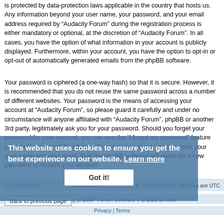is protected by data-protection laws applicable in the country that hosts us. Any information beyond your user name, your password, and your email address required by “Audacity Forum” during the registration process is either mandatory or optional, at the discretion of “Audacity Forum”. In all cases, you have the option of what information in your account is publicly displayed. Furthermore, within your account, you have the option to opt-in or opt-out of automatically generated emails from the phpBB software.
Your password is ciphered (a one-way hash) so that it is secure. However, it is recommended that you do not reuse the same password across a number of different websites. Your password is the means of accessing your account at “Audacity Forum”, so please guard it carefully and under no circumstance will anyone affiliated with “Audacity Forum”, phpBB or another 3rd party, legitimately ask you for your password. Should you forget your password for your account, you can use the “I forgot my password” feature provided by the phpBB software. This process will ask you to submit your user name and your email, then the phpBB software will generate a new password to reclaim your account.
[Figure (screenshot): Cookie consent banner overlay: 'This website uses cookies to ensure you get the best experience on our website. Learn more' with a 'Got it!' button]
Back to previous page
Board index   Contact us   Delete cookies   All times are UTC
Powered by phpBB® Forum Software © phpBB Limited
Privacy | Terms